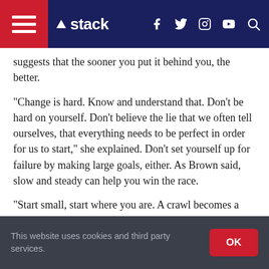Stack — navigation bar with hamburger menu, Stack logo, f, Twitter, Instagram, YouTube, search icons
suggests that the sooner you put it behind you, the better.
“Change is hard. Know and understand that. Don’t be hard on yourself. Don’t believe the lie that we often tell ourselves, that everything needs to be perfect in order for us to start,” she explained. Don’t set yourself up for failure by making large goals, either. As Brown said, slow and steady can help you win the race.
“Start small, start where you are. A crawl becomes a walk, and a walk becomes a run. Lastly, try never to miss two full days of moving towards your goals. One day is an accident and two days is how you begin to cultivate a new habit.”
This website uses cookies and third party services. OK